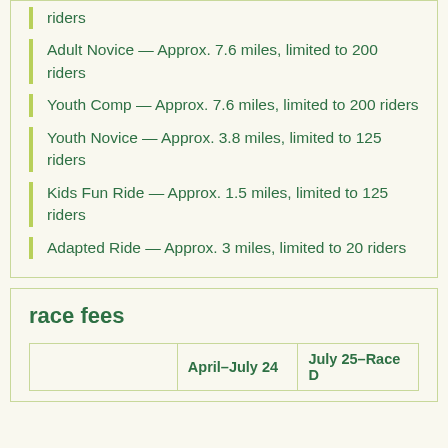riders
Adult Novice — Approx. 7.6 miles, limited to 200 riders
Youth Comp — Approx. 7.6 miles, limited to 200 riders
Youth Novice — Approx. 3.8 miles, limited to 125 riders
Kids Fun Ride — Approx. 1.5 miles, limited to 125 riders
Adapted Ride — Approx. 3 miles, limited to 20 riders
race fees
|  | April–July 24 | July 25–Race D |
| --- | --- | --- |